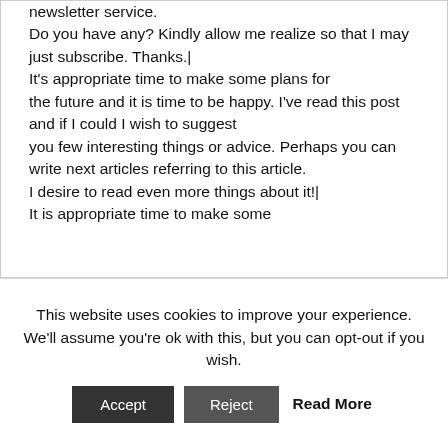newsletter service. Do you have any? Kindly allow me realize so that I may just subscribe. Thanks.| It's appropriate time to make some plans for the future and it is time to be happy. I've read this post and if I could I wish to suggest you few interesting things or advice. Perhaps you can write next articles referring to this article. I desire to read even more things about it!| It is appropriate time to make some
This website uses cookies to improve your experience. We'll assume you're ok with this, but you can opt-out if you wish. Accept Reject Read More